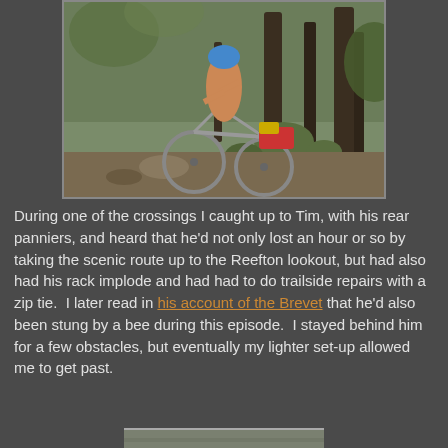[Figure (photo): A cyclist wearing a blue helmet and cycling gear pushes a mountain bike loaded with red and yellow panniers through rocky, mossy terrain in a forested area.]
During one of the crossings I caught up to Tim, with his rear panniers, and heard that he'd not only lost an hour or so by taking the scenic route up to the Reefton lookout, but had also had his rack implode and had had to do trailside repairs with a zip tie.  I later read in his account of the Brevet that he'd also been stung by a bee during this episode.  I stayed behind him for a few obstacles, but eventually my lighter set-up allowed me to get past.
[Figure (photo): Partial view of another photo at the bottom of the page, mostly cut off.]